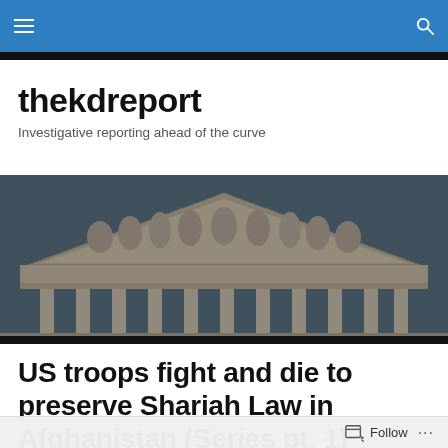thekdreport navigation bar
thekdreport
Investigative reporting ahead of the curve
[Figure (photo): Photo of the top portion of a classical government building (likely the US Supreme Court), showing a triangular pediment with sculptural friezes and columns, against a light blue sky. The image has a dark overlay/tint.]
US troops fight and die to preserve Shariah Law in Afghanistan (Series pt. 1)
Follow ...